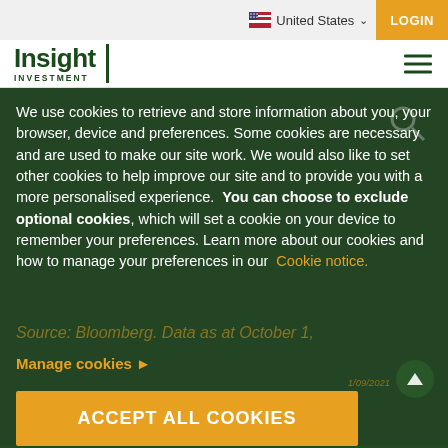United States | LOGIN
[Figure (logo): Insight Investment logo with hamburger menu icon]
We use cookies to retrieve and store information about you, your browser, device and preferences. Some cookies are necessary and are used to make our site work. We would also like to set other cookies to help improve our site and to provide you with a more personalised experience.  You can choose to exclude optional cookies, which will set a cookie on your device to remember your preferences. Learn more about our cookies and how to manage your preferences in our  Cookie notice.
Manage cookies ▶
ACCEPT ALL COOKIES